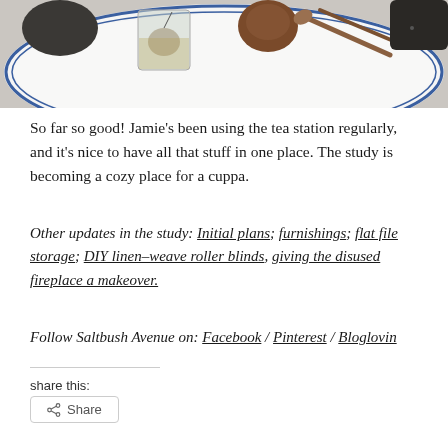[Figure (photo): Photo of a white plate with blue rim containing a glass cup of tea with tea bag, some dark stones, wooden spoons, and other tea-related items]
So far so good! Jamie’s been using the tea station regularly, and it’s nice to have all that stuff in one place. The study is becoming a cozy place for a cuppa.
Other updates in the study: Initial plans; furnishings; flat file storage; DIY linen–weave roller blinds, giving the disused fireplace a makeover.
Follow Saltbush Avenue on: Facebook / Pinterest / Bloglovin
share this:
Share